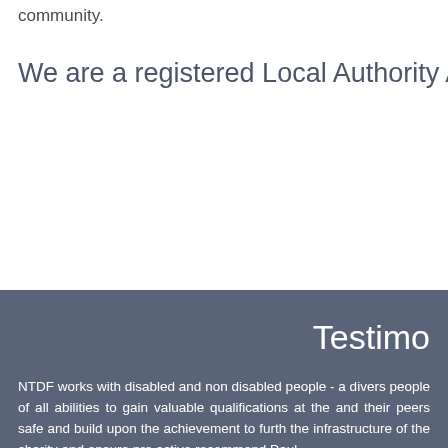community.
We are a registered Local Authority App
Testimo
NTDF works with disabled and non disabled people - a divers people of all abilities to gain valuable qualifications at the and their peers safe and build upon the achievement to furth the infrastructure of the charity and ensure pro active recommend Paul
Sue Adams Chief Officer at North